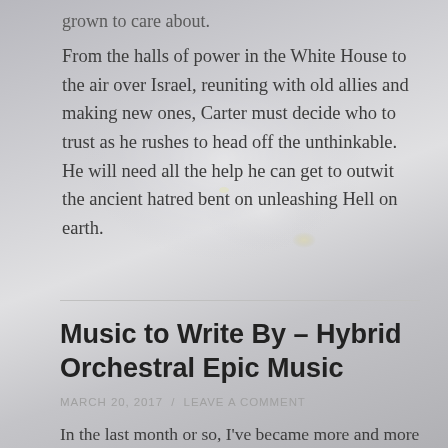grown to care about.
From the halls of power in the White House to the air over Israel, reuniting with old allies and making new ones, Carter must decide who to trust as he rushes to head off the unthinkable. He will need all the help he can get to outwit the ancient hatred bent on unleashing Hell on earth.
Music to Write By – Hybrid Orchestral Epic Music
MARCH 20, 2017 / LEAVE A COMMENT
In the last month or so, I've became more and more